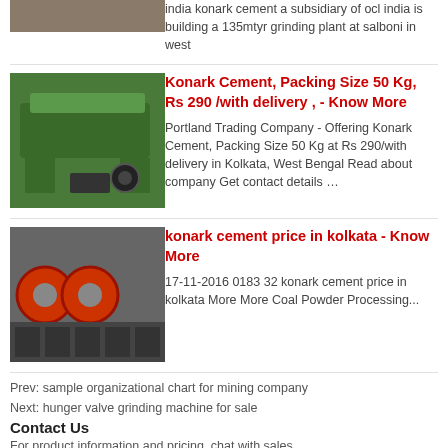[Figure (photo): Partial top image of industrial equipment, brown/tan tones]
india konark cement a subsidiary of ocl india is building a 135mtyr grinding plant at salboni in west
[Figure (photo): Green industrial machine/vibrating screen equipment]
Konark Cement, Packing Size 50 Kg, Rs 290 /with delivery , - Know More
Portland Trading Company - Offering Konark Cement, Packing Size 50 Kg at Rs 290/with delivery in Kolkata, West Bengal Read about company Get contact details …
[Figure (photo): Industrial cable reels/machinery in a facility]
konark cement price in kolkata - Know More
17-11-2016 0183 32 konark cement price in kolkata More More Coal Powder Processing...
Prev: sample organizational chart for mining company
Next: hunger valve grinding machine for sale
Contact Us
For product information and pricing, chat with sales.
get price ›
price@pejaw.com